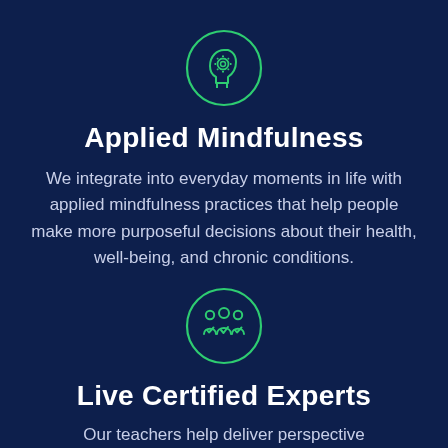[Figure (illustration): Green outline icon of a human head profile with a gear/cog inside, enclosed in a green circle]
Applied Mindfulness
We integrate into everyday moments in life with applied mindfulness practices that help people make more purposeful decisions about their health, well-being, and chronic conditions.
[Figure (illustration): Green outline icon of a group of three people with checkmarks on their chests, enclosed in a green circle]
Live Certified Experts
Our teachers help deliver perspective